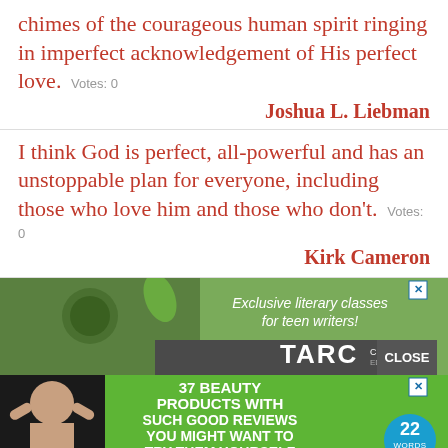chimes of the courageous human spirit ringing in imperfect acknowledgement of His perfect love. Votes: 0
Joshua L. Liebman
I think God is perfect, all-powerful and has an unstoppable plan for everyone, including those who love him and those who don't. Votes: 0
Kirk Cameron
[Figure (screenshot): Advertisement banner: Exclusive literary classes for teen writers! with TARC CLASSROOM EDITION logo and CLOSE button]
[Figure (screenshot): Green advertisement: 37 BEAUTY PRODUCTS WITH SUCH GOOD REVIEWS YOU MIGHT WANT TO TRY THEM YOURSELF with 22 WORDS badge and photo of woman]